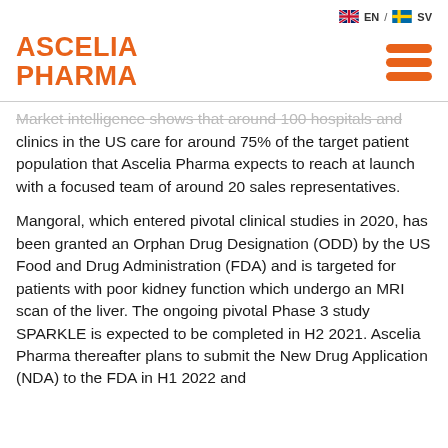EN / SV
[Figure (logo): Ascelia Pharma logo in orange text]
Market intelligence shows that around 100 hospitals and clinics in the US care for around 75% of the target patient population that Ascelia Pharma expects to reach at launch with a focused team of around 20 sales representatives.
Mangoral, which entered pivotal clinical studies in 2020, has been granted an Orphan Drug Designation (ODD) by the US Food and Drug Administration (FDA) and is targeted for patients with poor kidney function which undergo an MRI scan of the liver. The ongoing pivotal Phase 3 study SPARKLE is expected to be completed in H2 2021. Ascelia Pharma thereafter plans to submit the New Drug Application (NDA) to the FDA in H1 2022 and